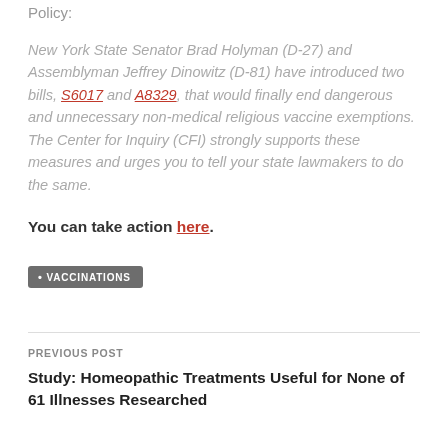Policy:
New York State Senator Brad Holyman (D-27) and Assemblyman Jeffrey Dinowitz (D-81) have introduced two bills, S6017 and A8329, that would finally end dangerous and unnecessary non-medical religious vaccine exemptions. The Center for Inquiry (CFI) strongly supports these measures and urges you to tell your state lawmakers to do the same.
You can take action here.
VACCINATIONS
PREVIOUS POST
Study: Homeopathic Treatments Useful for None of 61 Illnesses Researched